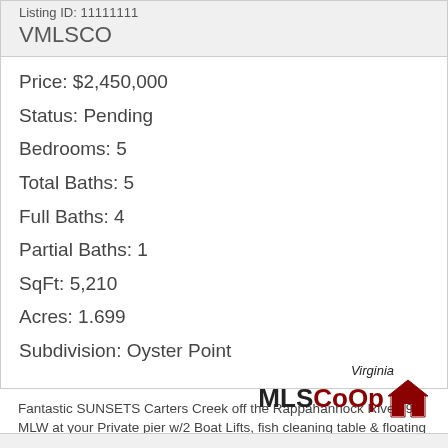Listing ID: 11111111
VMLSCO
Price: $2,450,000
Status: Pending
Bedrooms: 5
Total Baths: 5
Full Baths: 4
Partial Baths: 1
SqFt: 5,210
Acres: 1.699
Subdivision: Oyster Point
Fantastic SUNSETS Carters Creek off the Rappahannock River. 9' MLW at your Private pier w/2 Boat Lifts, fish cleaning table & floating dock! Southern Living Style home w/tons of glass along Water...
[Figure (logo): Virginia MLS CoOp logo with house icon]